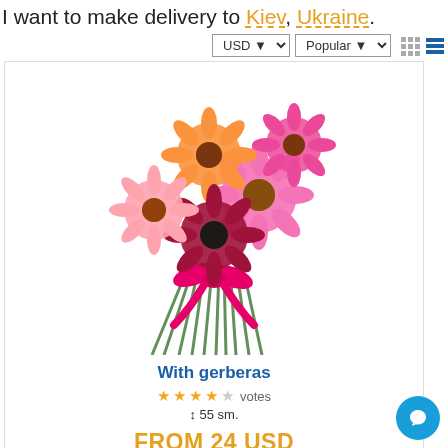I want to make delivery to Kiev, Ukraine.
[Figure (screenshot): Flower bouquet with colorful gerberas (pink, orange, red, white) tied with a pink ribbon, product listing image on white background]
With gerberas
★★★★☆  votes
↕ 55 sm.
FROM 24 USD